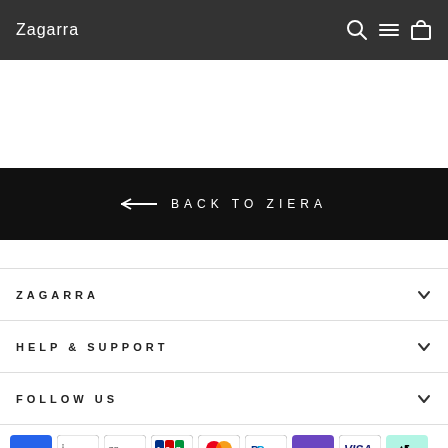Zagarra
[Figure (other): Back to Ziera button banner]
ZAGARRA
HELP & SUPPORT
FOLLOW US
[Figure (other): Payment method icons: Amex, Apple Pay, Google Pay, JCB, Mastercard, PayPal, OPay, Visa, Afterpay]